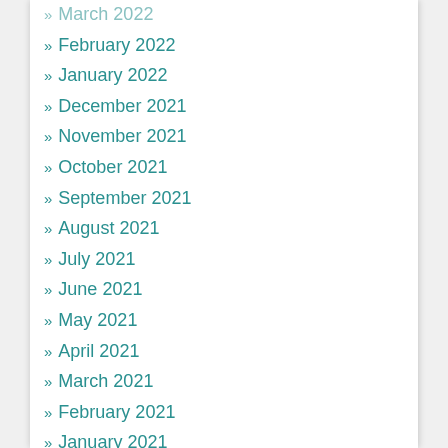» March 2022
» February 2022
» January 2022
» December 2021
» November 2021
» October 2021
» September 2021
» August 2021
» July 2021
» June 2021
» May 2021
» April 2021
» March 2021
» February 2021
» January 2021
» December 2020